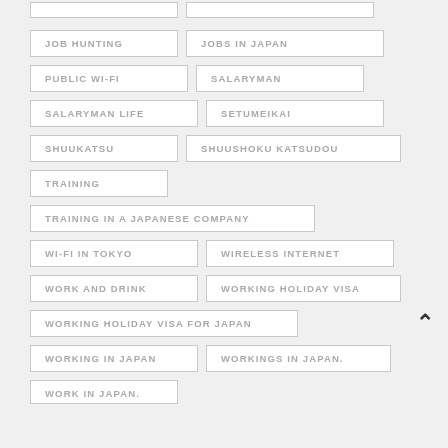JOB HUNTING
JOBS IN JAPAN
PUBLIC WI-FI
SALARYMAN
SALARYMAN LIFE
SETUMEIKAI
SHUUKATSU
SHUUSHOKU KATSUDOU
TRAINING
TRAINING IN A JAPANESE COMPANY
WI-FI IN TOKYO
WIRELESS INTERNET
WORK AND DRINK
WORKING HOLIDAY VISA
WORKING HOLIDAY VISA FOR JAPAN
WORKING IN JAPAN
WORKINGS IN JAPAN.
WORK IN JAPAN.